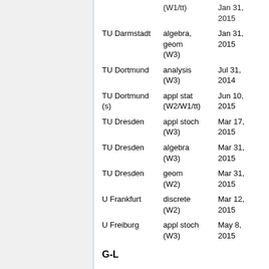| Institution | Areas | Apply by |
| --- | --- | --- |
| TU Darmstadt | optim (W1/tt) | Jan 31, 2015 |
| TU Darmstadt | algebra, geom (W3) | Jan 31, 2015 |
| TU Dortmund | analysis (W3) | Jul 31, 2014 |
| TU Dortmund (s) | appl stat (W2/W1/tt) | Jun 10, 2015 |
| TU Dresden | appl stoch (W3) | Mar 17, 2015 |
| TU Dresden | algebra (W3) | Mar 31, 2015 |
| TU Dresden | geom (W2) | Mar 31, 2015 |
| U Frankfurt | discrete (W2) | Mar 12, 2015 |
| U Freiburg | appl stoch (W3) | May 8, 2015 |
G-L
| Institution | Areas | Apply by | Short |
| --- | --- | --- | --- |